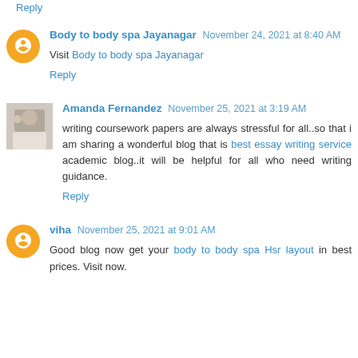Reply
Body to body spa Jayanagar  November 24, 2021 at 8:40 AM
Visit Body to body spa Jayanagar
Reply
Amanda Fernandez  November 25, 2021 at 3:19 AM
writing coursework papers are always stressful for all..so that i am sharing a wonderful blog that is best essay writing service academic blog..it will be helpful for all who need writing guidance.
Reply
viha  November 25, 2021 at 9:01 AM
Good blog now get your body to body spa Hsr layout in best prices. Visit now.